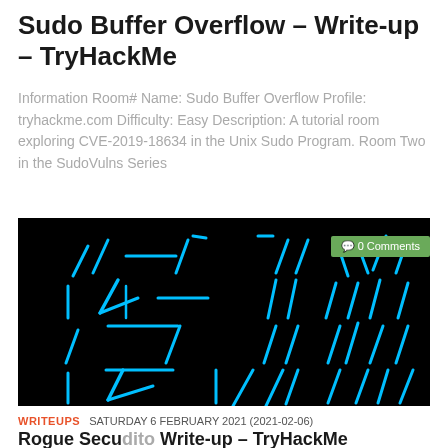Sudo Buffer Overflow - Write-up - TryHackMe
Information Room# Name: Sudo Buffer Overflow Profile: tryhackme.com Difficulty: Easy Description: A tutorial room exploring CVE-2019-18634 in the Unix Sudo Program. Room Two in the SudoVulns Series
[Figure (screenshot): Dark/black background image with cyan/blue neon line art forming abstract angular shapes resembling letters or characters. A green badge in the top right reads '0 Comments'.]
WRITEUPS  SATURDAY 6 FEBRUARY 2021 (2021-02-06)
Rogue Secu dito Write-up - TryHackMe